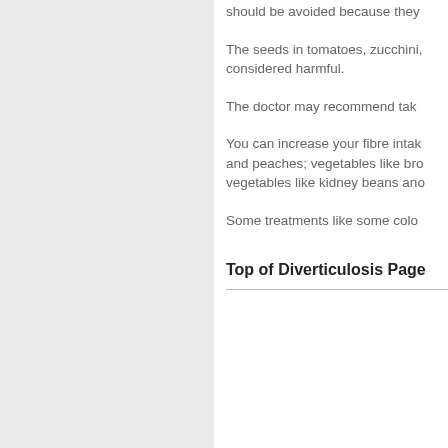should be avoided because they
The seeds in tomatoes, zucchini, considered harmful.
The doctor may recommend tak
You can increase your fibre intak and peaches; vegetables like bro vegetables like kidney beans ano
Some treatments like some colo
Top of Diverticulosis Page